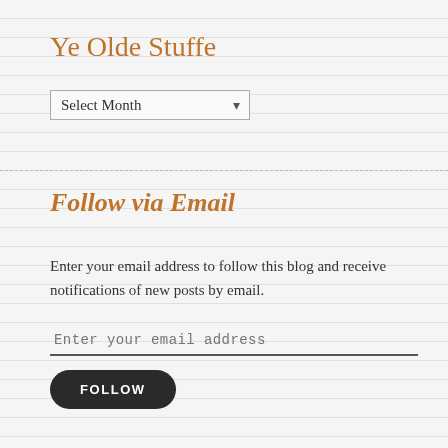Ye Olde Stuffe
Select Month
Follow via Email
Enter your email address to follow this blog and receive notifications of new posts by email.
Enter your email address
FOLLOW